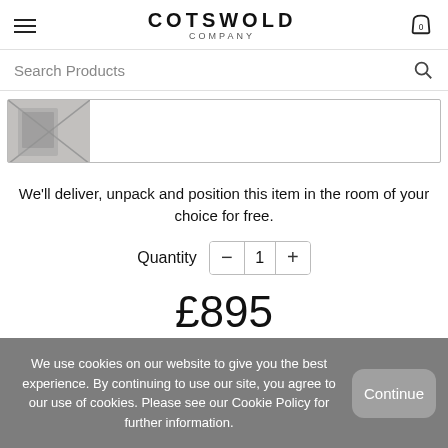COTSWOLD COMPANY
Search Products
[Figure (screenshot): Partial product image thumbnail showing a grey fabric/material item inside a bordered card]
We'll deliver, unpack and position this item in the room of your choice for free.
Quantity  -  1  +
£895
We use cookies on our website to give you the best experience. By continuing to use our site, you agree to our use of cookies. Please see our Cookie Policy for further information.